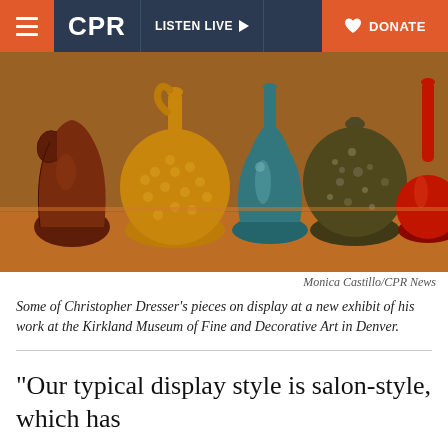CPR  LISTEN LIVE  DONATE
[Figure (photo): A display of colorful ceramic vases and vessels by Christopher Dresser on an orange shelf: a dark brown jug, a large yellow textured globe vase, a tall teal teardrop-shaped vase, a speckled dark globe, and a tall red bottle vase with a red round base.]
Monica Castillo/CPR News
Some of Christopher Dresser's pieces on display at a new exhibit of his work at the Kirkland Museum of Fine and Decorative Art in Denver.
“Our typical display style is salon-style, which has